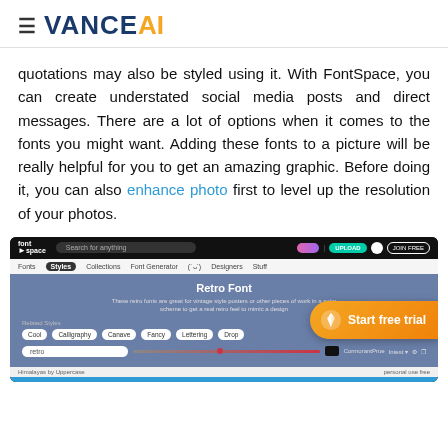≡ VANCE AI
quotations may also be styled using it. With FontSpace, you can create understated social media posts and direct messages. There are a lot of options when it comes to the fonts you might want. Adding these fonts to a picture will be really helpful for you to get an amazing graphic. Before doing it, you can also enhance photo first to level up the resolution of your photos.
[Figure (screenshot): FontSpace website screenshot showing the Retro Font category page with a 'Start free trial' orange CTA overlay button]